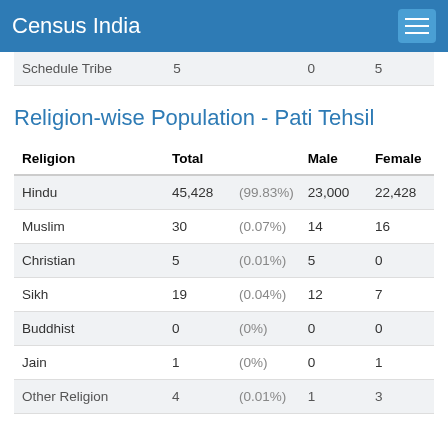Census India
| Schedule Tribe | 5 | 0 | 5 |
Religion-wise Population - Pati Tehsil
| Religion | Total |  | Male | Female |
| --- | --- | --- | --- | --- |
| Hindu | 45,428 | (99.83%) | 23,000 | 22,428 |
| Muslim | 30 | (0.07%) | 14 | 16 |
| Christian | 5 | (0.01%) | 5 | 0 |
| Sikh | 19 | (0.04%) | 12 | 7 |
| Buddhist | 0 | (0%) | 0 | 0 |
| Jain | 1 | (0%) | 0 | 1 |
| Other Religion | 4 | (0.01%) | 1 | 3 |